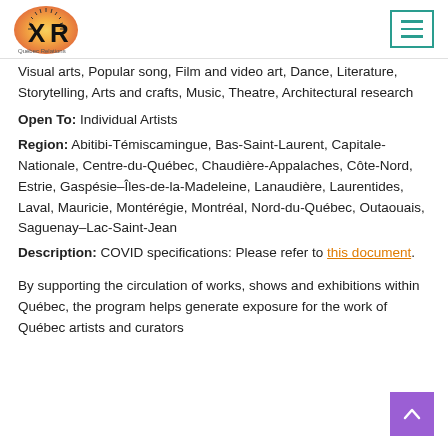Québec Relations — navigation header with logo and menu button
Visual arts, Popular song, Film and video art, Dance, Literature, Storytelling, Arts and crafts, Music, Theatre, Architectural research
Open To: Individual Artists
Region: Abitibi-Témiscamingue, Bas-Saint-Laurent, Capitale-Nationale, Centre-du-Québec, Chaudière-Appalaches, Côte-Nord, Estrie, Gaspésie–Îles-de-la-Madeleine, Lanaudière, Laurentides, Laval, Mauricie, Montérégie, Montréal, Nord-du-Québec, Outaouais, Saguenay–Lac-Saint-Jean
Description: COVID specifications: Please refer to this document.
By supporting the circulation of works, shows and exhibitions within Québec, the program helps generate exposure for the work of Québec artists and curators